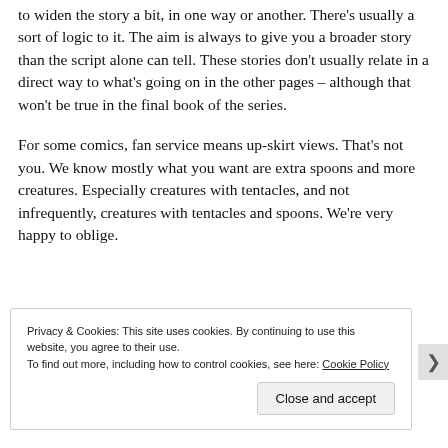to widen the story a bit, in one way or another. There's usually a sort of logic to it. The aim is always to give you a broader story than the script alone can tell. These stories don't usually relate in a direct way to what's going on in the other pages – although that won't be true in the final book of the series.
For some comics, fan service means up-skirt views. That's not you. We know mostly what you want are extra spoons and more creatures. Especially creatures with tentacles, and not infrequently, creatures with tentacles and spoons. We're very happy to oblige.
Privacy & Cookies: This site uses cookies. By continuing to use this website, you agree to their use.
To find out more, including how to control cookies, see here: Cookie Policy
Close and accept